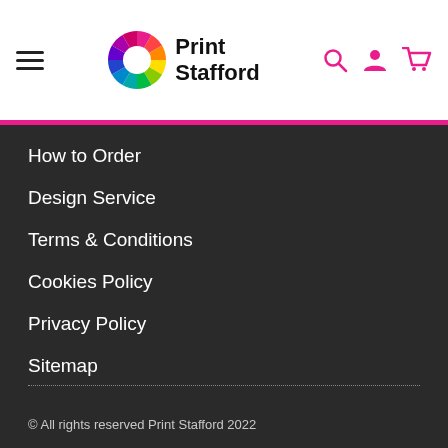Print Stafford
How to Order
Design Service
Terms & Conditions
Cookies Policy
Privacy Policy
Sitemap
© All rights reserved Print Stafford 2022